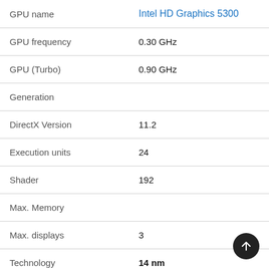| Property | Value |
| --- | --- |
| GPU name | Intel HD Graphics 5300 |
| GPU frequency | 0.30 GHz |
| GPU (Turbo) | 0.90 GHz |
| Generation |  |
| DirectX Version | 11.2 |
| Execution units | 24 |
| Shader | 192 |
| Max. Memory |  |
| Max. displays | 3 |
| Technology | 14 nm |